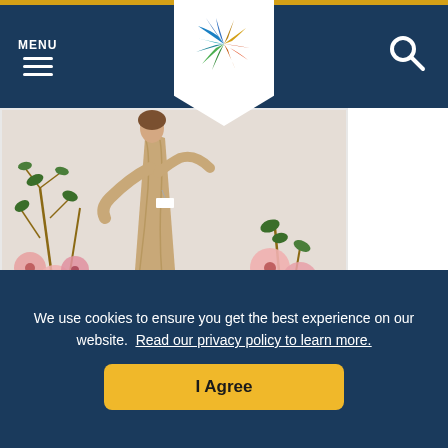MENU (navigation bar with hamburger icon and search icon)
[Figure (photo): A person in a beige/tan historical dress standing among pink floral arrangements with branches in a museum display setting]
Webbers Falls Historical Museum
918-464-2728
103 Commercial St
Webbers Falls, OK 74470
We use cookies to ensure you get the best experience on our website. Read our privacy policy to learn more.
I Agree